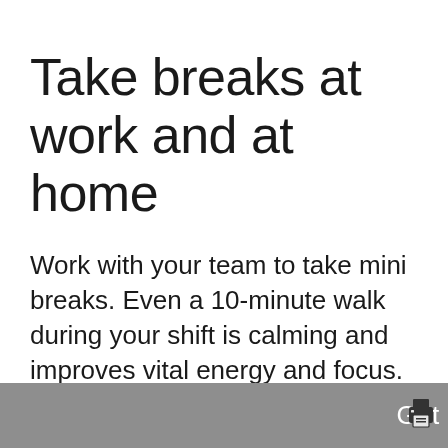Take breaks at work and at home
Work with your team to take mini breaks. Even a 10-minute walk during your shift is calming and improves vital energy and focus. Plan down time at home. Exercise, a good book, movie, or podcast, ...ques
We have published a revised version of our Privacy Statement. Please read these updated terms and take some time to understand them. Learn more
Got it